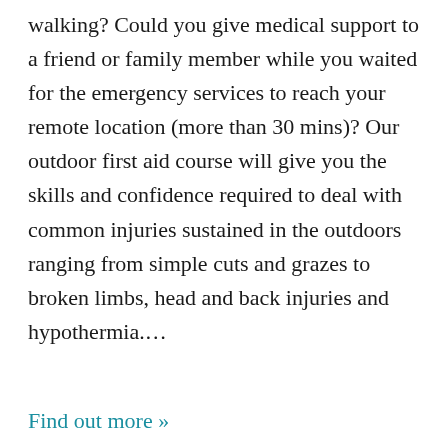walking? Could you give medical support to a friend or family member while you waited for the emergency services to reach your remote location (more than 30 mins)? Our outdoor first aid course will give you the skills and confidence required to deal with common injuries sustained in the outdoors ranging from simple cuts and grazes to broken limbs, head and back injuries and hypothermia.…
Find out more »